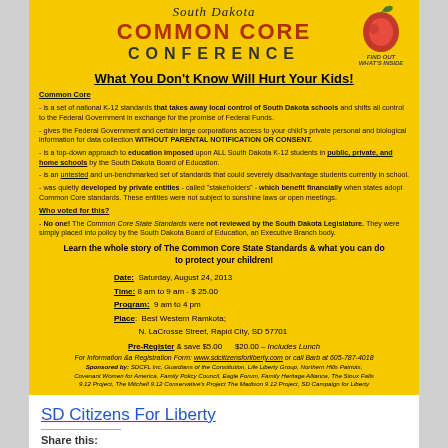[Figure (illustration): South Dakota Common Core Conference flyer on yellow background with apple logo and text content]
What You Don't Know Will Hurt Your Kids!
Common Core
- is a set of national K-12 standards that takes away local control of South Dakota schools and shifts all control to the Federal Government in exchange for the promise of Federal Funds.
- gives the Federal Government and certain large corporations access to your child's private personal and biological information for data collection WITHOUT PARENTAL NOTIFICATION OR CONSENT.
- is a top-down approach to education imposed upon ALL South Dakota K-12 students in public, private, and home schools by the South Dakota Board of Education.
- is an untested and un-benchmarked set of standards that could severely disadvantage students currently in school.
- was quietly developed by private entities - called 'stakeholders' - which benefit financially when states adopt Common Core standards. These entities were not subject to sunshine laws or open meetings.
Who voted for this?
- No one! The Common Core State Standards were not reviewed by the South Dakota Legislature. They were simply placed into policy by the South Dakota Board of Education, an Executive Branch body.
Learn the whole story of The Common Core State Standards & what you can do to protect your children!
Date: Saturday, August 24, 2013
Time: 8 am to 9 am - $ 25.00
Program: 9 am to 4 pm
Place: Best Western Ramkota; N. LaCrosse Street, Rapid City, SD 57701
Pre-Register & save $5.00     $20.00 – Includes Lunch
For Information & a Registration Form: www.sdcitizensforliberty.com or call Barb at 605-787-4018
Sponsored by: SDCFL Inc, Guardians of the Constitution, Life Liberty Group, Northern Hills Patriots, Covenant Women for America, Family Policy Council, Eagle Forum, Family Heritage Alliance, The Sioux Falls 9.12 Project, The Mitchell 9.12 Conservative's Project The Madison 9.12 Project, SD Campaign for Liberty
SD Citizens For Liberty
Share this: